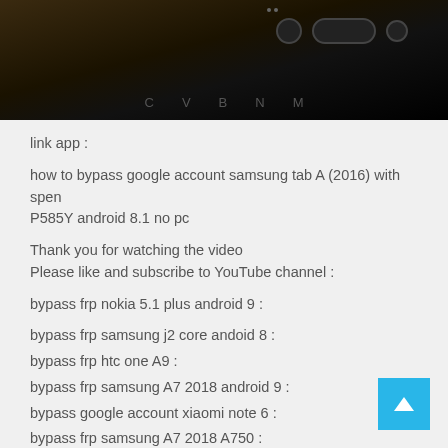[Figure (photo): Dark photo showing the back/top of a Samsung tablet device against a dark background, with some keyboard keys visible at the bottom of the image]
link app :
how to bypass google account samsung tab A (2016) with spen P585Y android 8.1 no pc
Thank you for watching the video
Please like and subscribe to YouTube channel :
bypass frp nokia 5.1 plus android 9 :
bypass frp samsung j2 core andoid 8 :
bypass frp htc one A9 :
bypass frp samsung A7 2018 android 9 :
bypass google account xiaomi note 6 :
bypass frp samsung A7 2018 A750 :
hard reset htc one A9S :